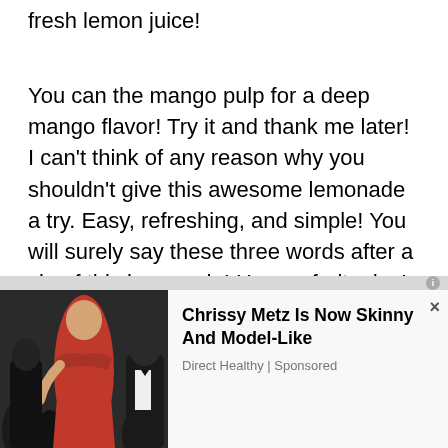fresh lemon juice!
You can the mango pulp for a deep mango flavor! Try it and thank me later! I can’t think of any reason why you shouldn’t give this awesome lemonade a try. Easy, refreshing, and simple! You will surely say these three words after a sip of this lemonade! Have a fruity day!
[Figure (photo): Advertisement banner showing a woman in a red dress at a red carpet event, with text: Chrissy Metz Is Now Skinny And Model-Like. Source: Direct Healthy | Sponsored]